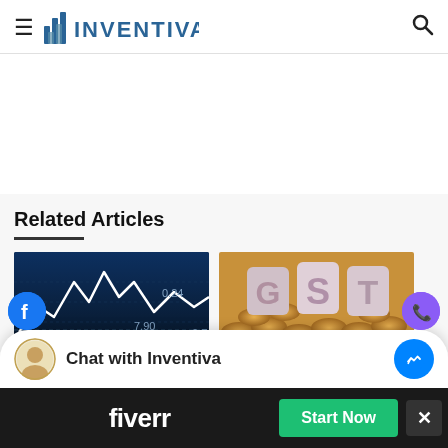≡ INVENTIVA [search icon]
[Figure (other): Advertisement/blank white space area]
Related Articles
[Figure (photo): Stock market chart with white line graph on dark blue background, numbers 7.90, 0.24, 0.7 visible]
[Figure (photo): GST text letters standing on coins background]
[Figure (screenshot): Chat with Inventiva overlay with messenger icon]
[Figure (infographic): Fiverr advertisement banner with Start Now button and close X button]